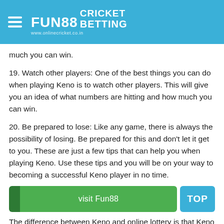FUN88 CRICKET BETTING www.onlinecricket.co.in
much you can win.
19. Watch other players: One of the best things you can do when playing Keno is to watch other players. This will give you an idea of what numbers are hitting and how much you can win.
20. Be prepared to lose: Like any game, there is always the possibility of losing. Be prepared for this and don't let it get to you. These are just a few tips that can help you when playing Keno. Use these tips and you will be on your way to becoming a successful Keno player in no time.
[Figure (screenshot): Green 'visit Fun88' button and blue 'TOP' button]
The difference between Keno and online lottery is that Keno